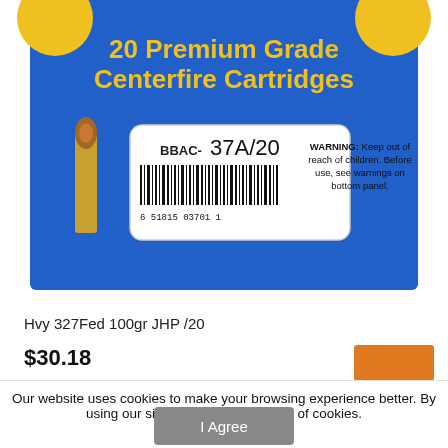[Figure (photo): Product photo of a box of ammunition labeled '20 Premium Grade Centerfire Cartridges', showing BBAC- 37A/20 barcode label with warning text, and two brass cartridges displayed beside the blue and yellow box.]
Hvy 327Fed 100gr JHP /20
$30.18
Our website uses cookies to make your browsing experience better. By using our site you agree to our use of cookies.
Learn More
I Agree